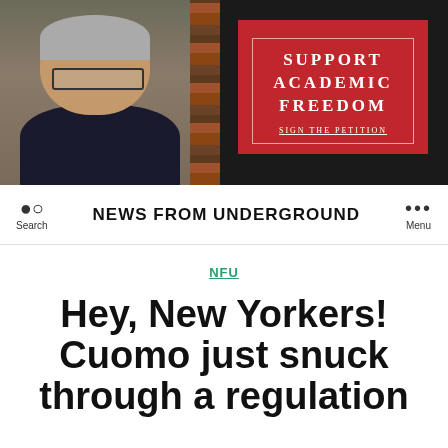[Figure (photo): Banner image with a man (older, glasses, dark shirt) on the left half against a bookshelf background, and a red 'Support Academic Freedom - Sign the Petition' box on the right.]
NEWS FROM UNDERGROUND
NFU
Hey, New Yorkers! Cuomo just snuck through a regulation